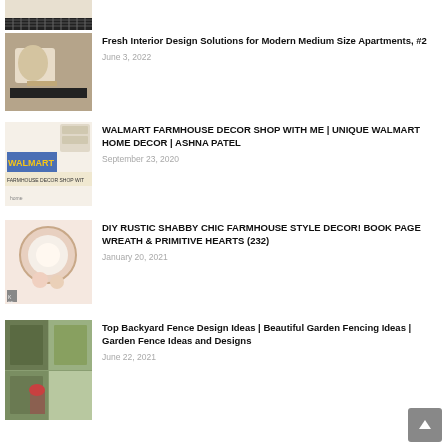[Figure (photo): Partial thumbnail of a striped rug or mat, top of page, cropped]
Fresh Interior Design Solutions for Modern Medium Size Apartments, #2
June 3, 2022
WALMART FARMHOUSE DECOR SHOP WITH ME | UNIQUE WALMART HOME DECOR | ASHNA PATEL
September 23, 2020
DIY RUSTIC SHABBY CHIC FARMHOUSE STYLE DECOR! BOOK PAGE WREATH & PRIMITIVE HEARTS (232)
January 20, 2021
Top Backyard Fence Design Ideas | Beautiful Garden Fencing Ideas | Garden Fence Ideas and Designs
June 22, 2021